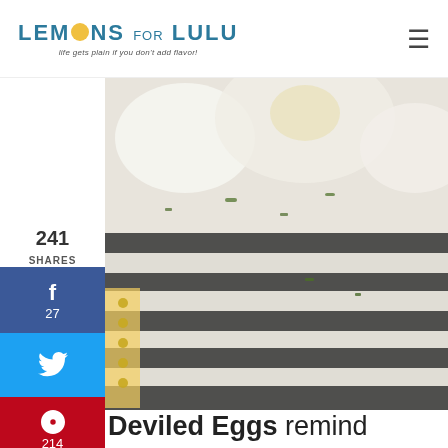LEMONS FOR LULU — life gets plain if you don't add flavor!
[Figure (photo): Close-up photo of deviled eggs with herb garnish on a striped cloth with a spiral-bound notebook visible]
241 SHARES
f 27
Twitter icon
Pinterest 214
Yummly
Tumblr
Deviled Eggs remind me of the 70's. I remember deviled eggs being THE appetizer at parties and cookouts that my family attended when I was a kid.
243